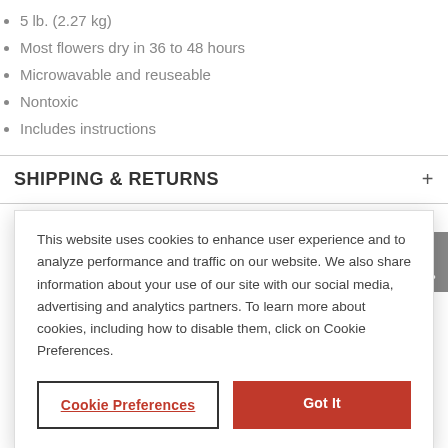5 lb. (2.27 kg)
Most flowers dry in 36 to 48 hours
Microwavable and reuseable
Nontoxic
Includes instructions
SHIPPING & RETURNS
This website uses cookies to enhance user experience and to analyze performance and traffic on our website. We also share information about your use of our site with our social media, advertising and analytics partners. To learn more about cookies, including how to disable them, click on Cookie Preferences.
Cookie Preferences
Got It
$21.99
$24.99